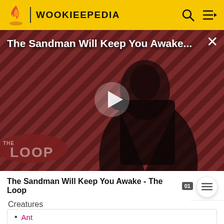WOOKIEEPEDIA
[Figure (screenshot): Video thumbnail showing a dark-cloaked figure against a red diagonal striped background with 'THE LOOP' logo. Title overlay reads 'The Sandman Will Keep You Awake...' with a play button in the center.]
The Sandman Will Keep You Awake - The Loop
Creatures
Ant
Aquabeast